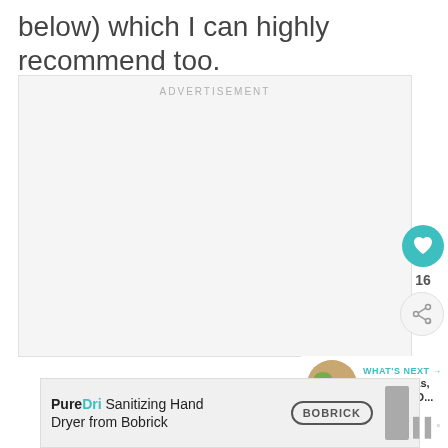below) which I can highly recommend too.
[Figure (other): Advertisement placeholder box with 'ADVERTISEMENT' label in grey text on light grey background]
[Figure (infographic): Social interaction buttons: teal heart/like button, count of 16, and share button]
[Figure (other): What's Next panel with thumbnail image and text 'Las Iguanas, Liverpool O...']
[Figure (other): Bottom advertisement banner: PureDri Sanitizing Hand Dryer from Bobrick with Bobrick logo]